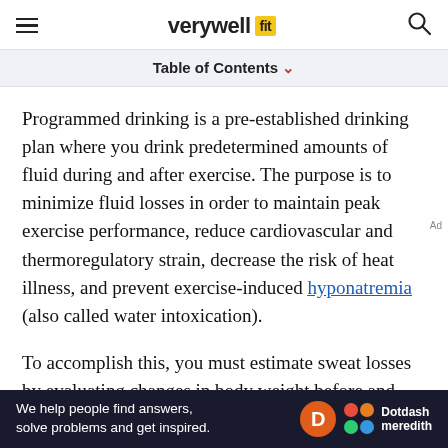verywell fit
Table of Contents
Programmed drinking is a pre-established drinking plan where you drink predetermined amounts of fluid during and after exercise. The purpose is to minimize fluid losses in order to maintain peak exercise performance, reduce cardiovascular and thermoregulatory strain, decrease the risk of heat illness, and prevent exercise-induced hyponatremia (also called water intoxication).
To accomplish this, you must estimate sweat losses by evaluating changes in body weight before and immediately after you exercise and then
We help people find answers, solve problems and get inspired. Dotdash meredith